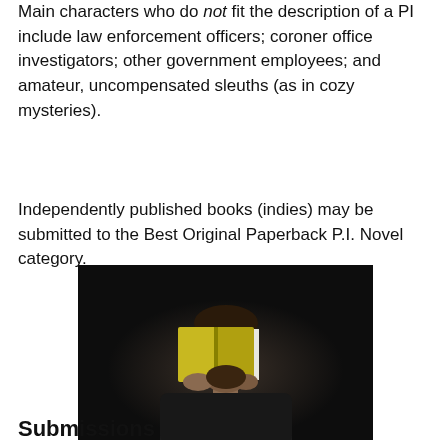Main characters who do not fit the description of a PI include law enforcement officers; coroner office investigators; other government employees; and amateur, uncompensated sleuths (as in cozy mysteries).
Independently published books (indies) may be submitted to the Best Original Paperback P.I. Novel category.
[Figure (photo): A person holding an open book with a yellow cover in front of their face, against a dark background, wearing dark clothing.]
Submissions